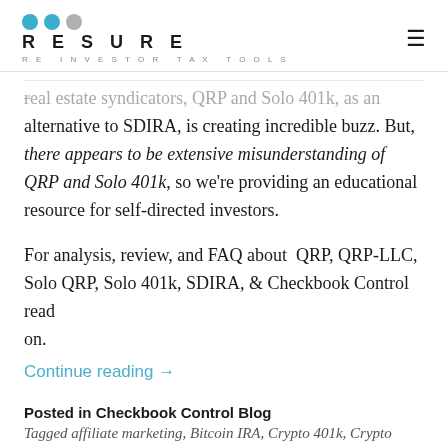RESURE RE INVESTOR TAX TOOLS
real estate syndicators, QRP and Solo 401k, as an alternative to SDIRA, is creating incredible buzz. But, there appears to be extensive misunderstanding of QRP and Solo 401k, so we're providing an educational resource for self-directed investors.
For analysis, review, and FAQ about QRP, QRP-LLC, Solo QRP, Solo 401k, SDIRA, & Checkbook Control read on.
Continue reading →
Posted in Checkbook Control Blog
Tagged affiliate marketing, Bitcoin IRA, Crypto 401k, Crypto